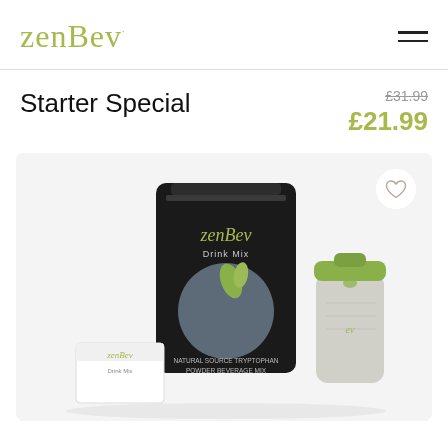zenBev
Starter Special
£31.99
£21.99
[Figure (photo): Product photo of ZenBev Starter Special bundle including a black ZenBev Drink Mix pouch (Natural Source Tryptophan Powder Beverage Mix), a green shaker bottle, and a small ZenBev box, photographed on a light background.]